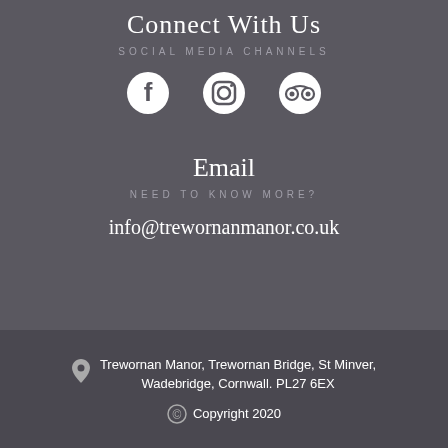Connect With Us
SOCIAL MEDIA CHANNELS
[Figure (illustration): Social media icons: Facebook, Instagram, TripAdvisor]
Email
NEED TO KNOW MORE?
info@trewornanmanor.co.uk
Trewornan Manor, Trewornan Bridge, St Minver, Wadebridge, Cornwall. PL27 6EX
Copyright 2020